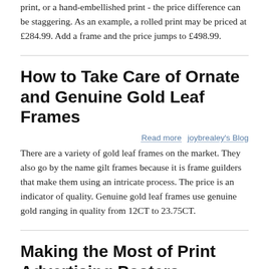print, or a hand-embellished print - the price difference can be staggering. As an example, a rolled print may be priced at £284.99. Add a frame and the price jumps to £498.99.
How to Take Care of Ornate and Genuine Gold Leaf Frames
Read more   joybrealey's Blog
There are a variety of gold leaf frames on the market. They also go by the name gilt frames because it is frame guilders that make them using an intricate process. The price is an indicator of quality. Genuine gold leaf frames use genuine gold ranging in quality from 12CT to 23.75CT.
Making the Most of Print Advertising Posters